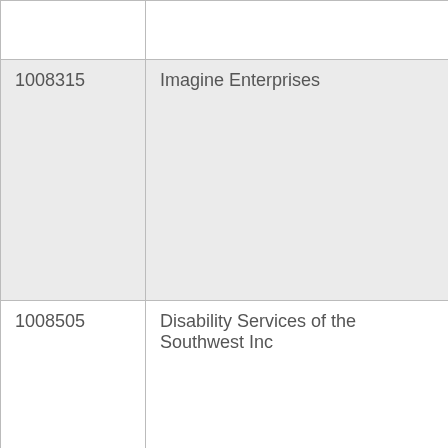| ID | Name |
| --- | --- |
|  |  |
| 1008315 | Imagine Enterprises |
| 1008505 | Disability Services of the Southwest Inc |